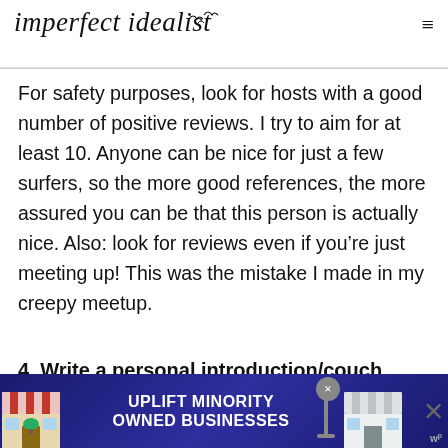imperfect idealist
3. Look for hosts with 10+ reviews
For safety purposes, look for hosts with a good number of positive reviews. I try to aim for at least 10. Anyone can be nice for just a few surfers, so the more good references, the more assured you can be that this person is actually nice. Also: look for reviews even if you’re just meeting up! This was the mistake I made in my creepy meetup.
4. Write a personal introduction/couch request (and send multiple!)
[Figure (screenshot): Advertisement banner: UPLIFT MINORITY OWNED BUSINESSES with shop illustrations on both sides and close buttons]